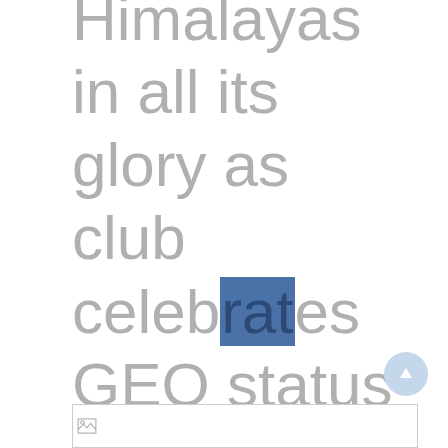Himalayas in all its glory as club celebrates GEO status renewal
[Figure (other): Image placeholder at bottom of page with broken image icon]